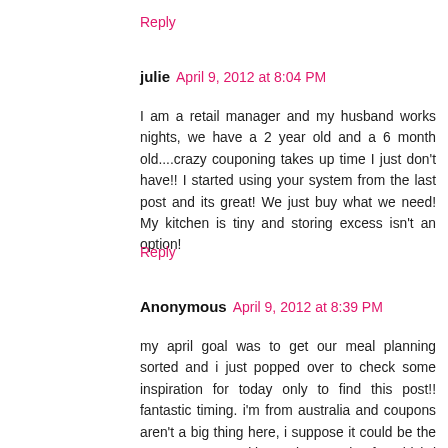Reply
julie  April 9, 2012 at 8:04 PM
I am a retail manager and my husband works nights, we have a 2 year old and a 6 month old....crazy couponing takes up time I just don't have!! I started using your system from the last post and its great! We just buy what we need! My kitchen is tiny and storing excess isn't an option!
Reply
Anonymous  April 9, 2012 at 8:39 PM
my april goal was to get our meal planning sorted and i just popped over to check some inspiration for today only to find this post!! fantastic timing. i'm from australia and coupons aren't a big thing here, i suppose it could be the same as our weekly catalogue sales for which i generally save an average of $20 per week! i have recently started online grocery shopping - with 2 kids and working (paid) part-time it's the best thing i have done especially with groceries